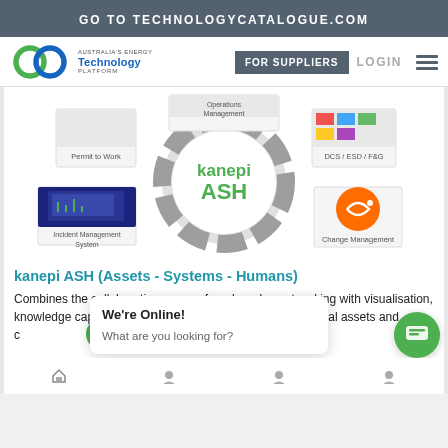GO TO TECHNOLOGYCATALOGUE.COM
[Figure (logo): Australia's Energy Technology Platform logo with interlinked circles in green and blue]
FOR SUPPLIERS   LOGIN
[Figure (infographic): kanepi ASH system diagram showing central hub with modules: Operations Management, Permit to Work, DCS/ESD/F&G, Incident Management System, Change Management]
kanepi ASH (Assets - Systems - Humans)
Combines the collaborative power of modern day networking with visualisation, knowledge capture and event [management across] functional assets and c[ompliance]
We're Online!
What are you looking for?